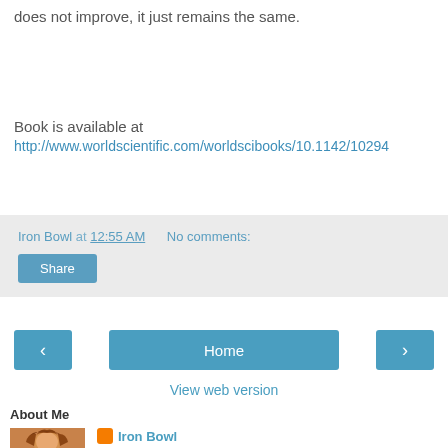does not improve, it just remains the same.
Book is available at http://www.worldscientific.com/worldscibooks/10.1142/10294
Iron Bowl at 12:55 AM   No comments:
Share
‹  Home  ›
View web version
About Me
[Figure (photo): Profile photo of a person with reddish-brown hair]
Iron Bowl
I am an entrepreneur and I like social media. It helps